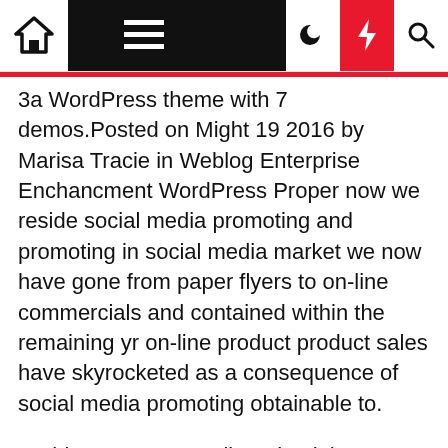Navigation bar with home, menu, moon, bolt, and search icons
3a WordPress theme with 7 demos.Posted on Might 19 2016 by Marisa Tracie in Weblog Enterprise Enchancment WordPress Proper now we reside social media promoting and promoting in social media market we now have gone from paper flyers to on-line commercials and contained within the remaining yr on-line product product sales have skyrocketed as a consequence of social media promoting obtainable to.
Perhitungan meramalkan dan lain berulang matematika dengan lembarang sebar , berhubungan dengan e-pos dan, Internet Namun, ketersediaan luas komputer dan mudah dikostumisasi komputer dapat digunakan untuk banyak pekerjaan lain. Purposes are now open for Future Fifty 8.zero, the UK's main late-stage growth programme, bringing